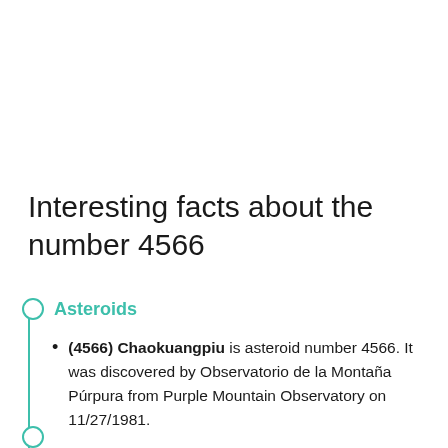Interesting facts about the number 4566
Asteroids
(4566) Chaokuangpiu is asteroid number 4566. It was discovered by Observatorio de la Montaña Púrpura from Purple Mountain Observatory on 11/27/1981.